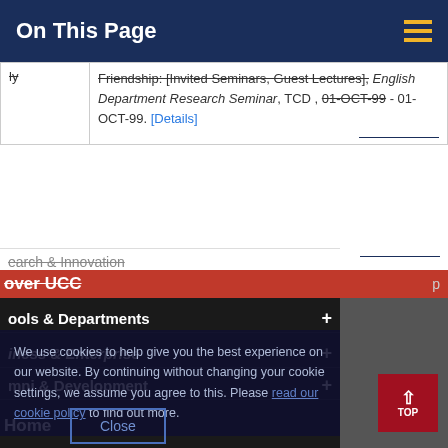On This Page
|  |  |
| --- | --- |
| ly | Friendship: [Invited Seminars; Guest Lectures], English Department Research Seminar, TCD , 01-OCT-99 - 01-OCT-99. [Details] |
earch & Innovation
over UCC
ools & Departments
iness & Enterprise
mni & Development
We use cookies to help give you the best experience on our website. By continuing without changing your cookie settings, we assume you agree to this. Please read our cookie policy to find out more.
Close
Home